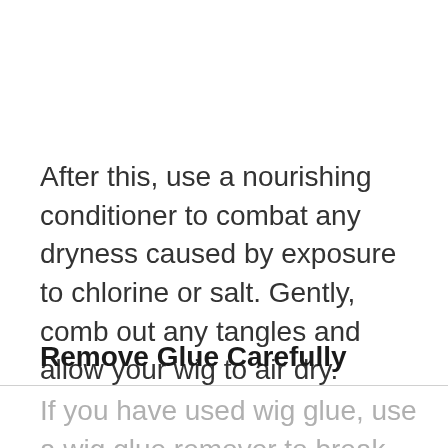After this, use a nourishing conditioner to combat any dryness caused by exposure to chlorine or salt. Gently, comb out any tangles and allow your wig to air dry.
Remove Glue Carefully
If you have used wig glue, use a wig glue remover to break this down